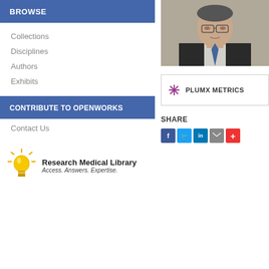BROWSE
Collections
Disciplines
Authors
Exhibits
CONTRIBUTE TO OPENWORKS
Contact Us
[Figure (logo): Research Medical Library logo with lightbulb icon and text 'Access. Answers. Expertise.']
[Figure (photo): Portrait photo of an older Asian man wearing glasses and a suit]
[Figure (infographic): PlumX Metrics badge with asterisk-like icon]
SHARE
[Figure (infographic): Social share buttons: Facebook, Twitter, LinkedIn, Email, More]